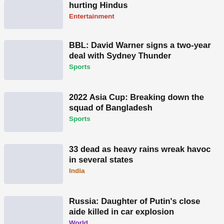hurting Hindus | Entertainment
BBL: David Warner signs a two-year deal with Sydney Thunder | Sports
2022 Asia Cup: Breaking down the squad of Bangladesh | Sports
33 dead as heavy rains wreak havoc in several states | India
Russia: Daughter of Putin's close aide killed in car explosion | World